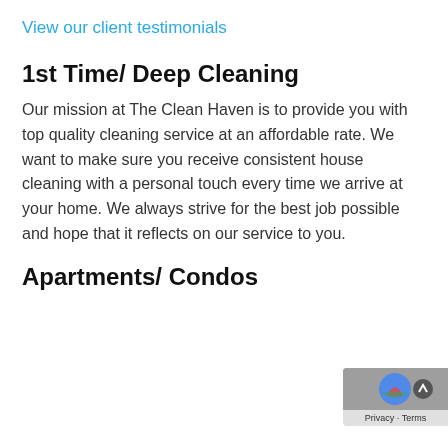View our client testimonials
1st Time/ Deep Cleaning
Our mission at The Clean Haven is to provide you with top quality cleaning service at an affordable rate. We want to make sure you receive consistent house cleaning with a personal touch every time we arrive at your home. We always strive for the best job possible and hope that it reflects on our service to you.
Apartments/ Condos
[Figure (other): reCAPTCHA privacy badge with chevron up button, showing Privacy - Terms text]